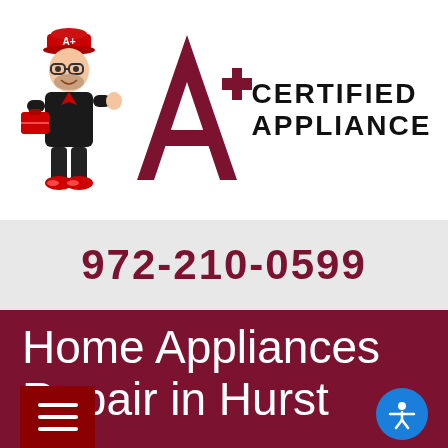[Figure (logo): A+ Certified Appliance logo with cartoon mascot technician in black uniform holding a toolbox, large dark red A+ letter mark, and bold text 'CERTIFIED APPLIANCE']
972-210-0599
Home Appliances Repair in Hurst